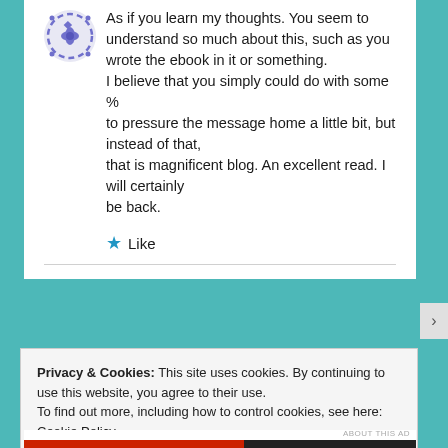As if you learn my thoughts. You seem to understand so much about this, such as you wrote the ebook in it or something. I believe that you simply could do with some % to pressure the message home a little bit, but instead of that, that is magnificent blog. An excellent read. I will certainly be back.
★ Like
Privacy & Cookies: This site uses cookies. By continuing to use this website, you agree to their use. To find out more, including how to control cookies, see here: Cookie Policy
Close and accept